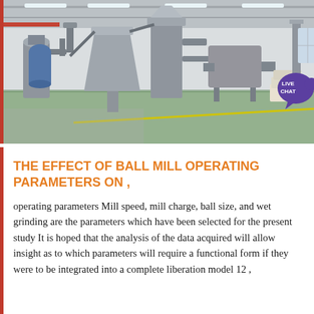[Figure (photo): Industrial ball mill facility interior showing large grinding machines, conveyor systems, dust collectors, and stacked bags of material on a green-painted factory floor under a high ceiling with fluorescent lighting.]
THE EFFECT OF BALL MILL OPERATING PARAMETERS ON ,
operating parameters Mill speed, mill charge, ball size, and wet grinding are the parameters which have been selected for the present study It is hoped that the analysis of the data acquired will allow insight as to which parameters will require a functional form if they were to be integrated into a complete liberation model 12 ,